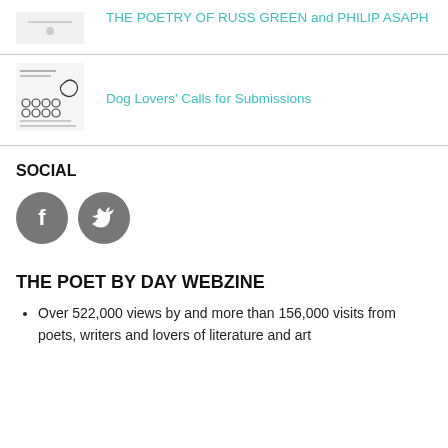THE POETRY OF RUSS GREEN and PHILIP ASAPH
[Figure (illustration): Small thumbnail image placeholder for Dog Lovers Calls for Submissions]
Dog Lovers’ Calls for Submissions
SOCIAL
[Figure (other): Facebook circle icon (gray)]
[Figure (other): Twitter circle icon (gray)]
THE POET BY DAY WEBZINE
Over 522,000 views by and more than 156,000 visits from poets, writers and lovers of literature and art